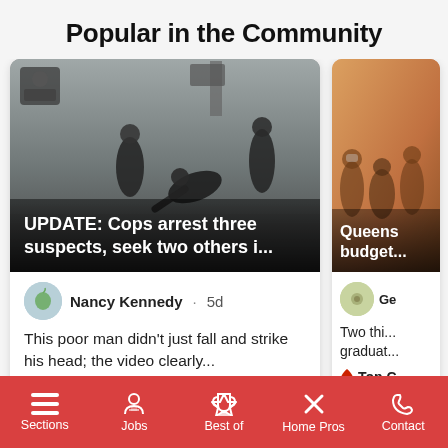Popular in the Community
[Figure (screenshot): News article card showing a surveillance camera image of people fighting/falling on a sidewalk, with headline 'UPDATE: Cops arrest three suspects, seek two others i...' by Nancy Kennedy, 5d ago, with comment 'This poor man didn't just fall and strike his head; the video clearly...' and Top Comment label]
[Figure (screenshot): Partially visible news article card with image of people seated in audience (yellow/orange background), headline 'Queens budget...' and partial comment 'Two thi... graduat...' and Top C label]
Sections  Jobs  Best of  Home Pros  Contact